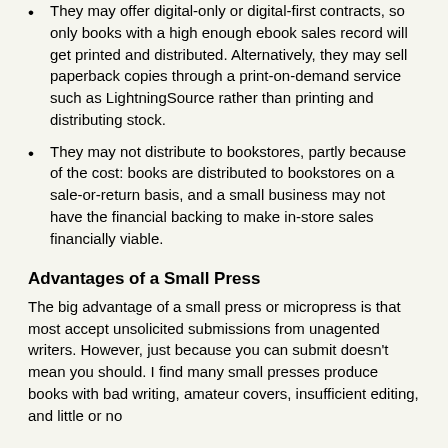They may offer digital-only or digital-first contracts, so only books with a high enough ebook sales record will get printed and distributed. Alternatively, they may sell paperback copies through a print-on-demand service such as LightningSource rather than printing and distributing stock.
They may not distribute to bookstores, partly because of the cost: books are distributed to bookstores on a sale-or-return basis, and a small business may not have the financial backing to make in-store sales financially viable.
Advantages of a Small Press
The big advantage of a small press or micropress is that most accept unsolicited submissions from unagented writers. However, just because you can submit doesn't mean you should. I find many small presses produce books with bad writing, amateur covers, insufficient editing, and little or no